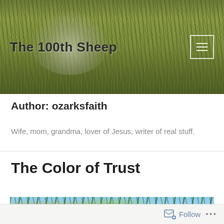The 100th Sheep
Author: ozarksfaith
Wife, mom, grandma, lover of Jesus, writer of real stuff.
The Color of Trust
[Figure (photo): Photograph of trees with yellow-green leaves against a blue sky, viewed from below]
Follow ...